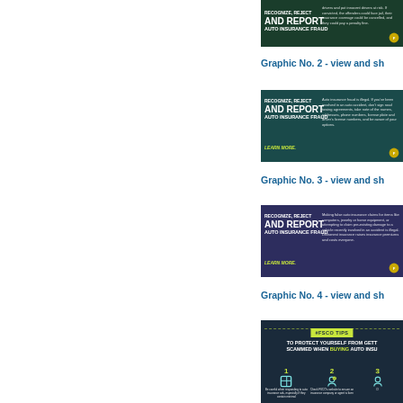[Figure (infographic): Dark green banner: RECOGNIZE, REJECT AND REPORT AUTO INSURANCE FRAUD with body text and Learn more link, FSCO logo]
Graphic No. 2 - view and sh...
[Figure (infographic): Teal banner: RECOGNIZE, REJECT AND REPORT AUTO INSURANCE FRAUD with body text and Learn more link, FSCO logo]
Graphic No. 3 - view and sh...
[Figure (infographic): Purple/blue banner: RECOGNIZE, REJECT AND REPORT AUTO INSURANCE FRAUD with body text and Learn more link, FSCO logo]
Graphic No. 4 - view and sh...
[Figure (infographic): #FSCO TIPS infographic: TO PROTECT YOURSELF FROM GETTING SCAMMED WHEN BUYING AUTO INSURANCE, with numbered tips icons]